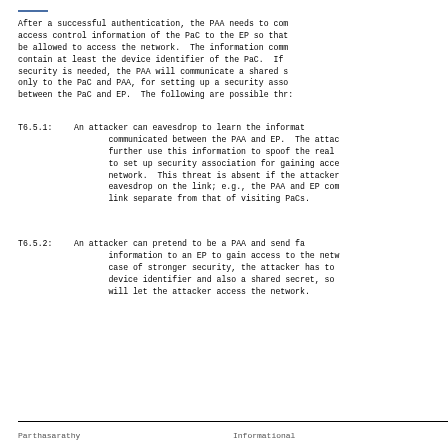After a successful authentication, the PAA needs to communicate access control information of the PaC to the EP so that it can be allowed to access the network.  The information communicated must contain at least the device identifier of the PaC.  If stronger security is needed, the PAA will communicate a shared secret known only to the PaC and PAA, for setting up a security association between the PaC and EP.  The following are possible threats:
T6.5.1:  An attacker can eavesdrop to learn the information communicated between the PAA and EP.  The attacker can further use this information to spoof the real PaC identity to set up security association for gaining access to the network.  This threat is absent if the attacker cannot eavesdrop on the link; e.g., the PAA and EP communicate on a link separate from that of visiting PaCs.
T6.5.2:  An attacker can pretend to be a PAA and send false information to an EP to gain access to the network.  In case of stronger security, the attacker has to possess the device identifier and also a shared secret, so the EP will let the attacker access the network.
Parthasarathy                   Informational